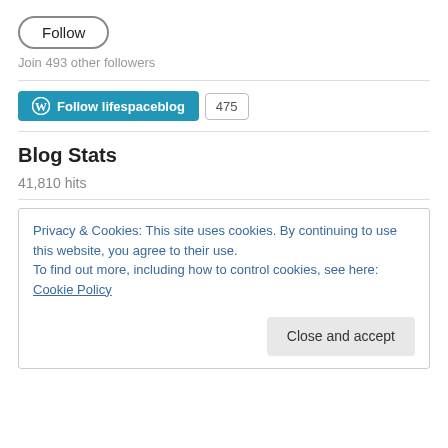Follow
Join 493 other followers
[Figure (other): WordPress Follow lifespaceblog button with count 475]
Blog Stats
41,810 hits
Privacy & Cookies: This site uses cookies. By continuing to use this website, you agree to their use.
To find out more, including how to control cookies, see here: Cookie Policy
Close and accept